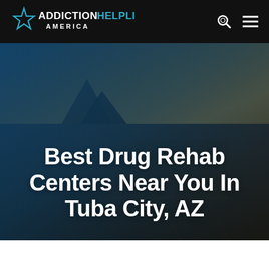ADDICTION HELPLINE AMERICA
[Figure (photo): Aerial view of Tuba City, AZ with mountains in background, overlaid with blue gradient tint]
Best Drug Rehab Centers Near You In Tuba City, AZ